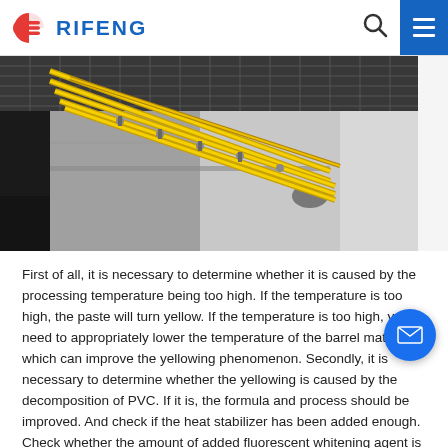RIFENG
[Figure (photo): Interior tunnel or corridor with yellow pipes/conduits running diagonally along the ceiling and wall, concrete/grey wall surface visible, dark ceiling with metal grating]
First of all, it is necessary to determine whether it is caused by the processing temperature being too high. If the temperature is too high, the paste will turn yellow. If the temperature is too high, you need to appropriately lower the temperature of the barrel material, which can improve the yellowing phenomenon. Secondly, it is necessary to determine whether the yellowing is caused by the decomposition of PVC. If it is, the formula and process should be improved. And check if the heat stabilizer has been added enough. Check whether the amount of added fluorescent whitening agent is not enough, or whether the selected fluorescent whitening agent is not suitable. These can be